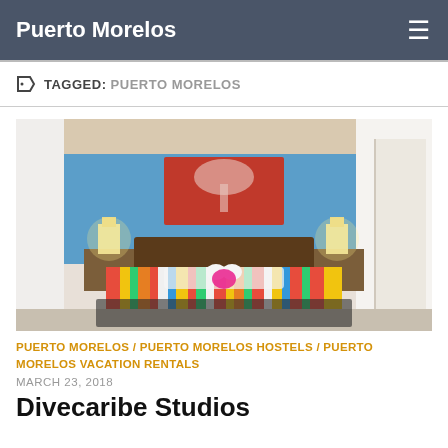Puerto Morelos
TAGGED: PUERTO MORELOS
[Figure (photo): Hotel room with colorful striped bedspread, blue accent wall, red tree artwork above headboard, two bedside lamps, and decorative stuffed animals arranged on the bed.]
PUERTO MORELOS / PUERTO MORELOS HOSTELS / PUERTO MORELOS VACATION RENTALS
MARCH 23, 2018
Divecaribe Studios